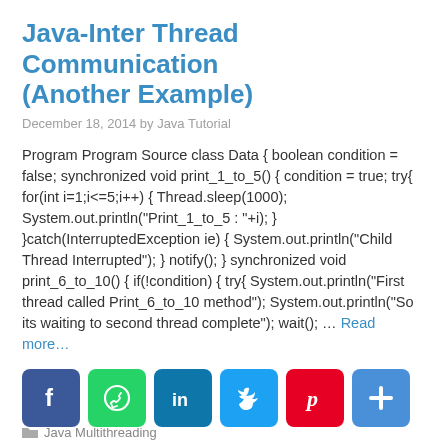Java-Inter Thread Communication (Another Example)
December 18, 2014 by Java Tutorial
Program Program Source class Data { boolean condition = false; synchronized void print_1_to_5() { condition = true; try{ for(int i=1;i<=5;i++) { Thread.sleep(1000); System.out.println("Print_1_to_5 : "+i); } }catch(InterruptedException ie) { System.out.println("Child Thread Interrupted"); } notify(); } synchronized void print_6_to_10() { if(!condition) { try{ System.out.println("First thread called Print_6_to_10 method"); System.out.println("So its waiting to second thread complete"); wait(); … Read more…
[Figure (infographic): Social sharing buttons: Facebook (blue), WhatsApp (green), LinkedIn (teal), Twitter (light blue), Pinterest (red), More/Plus (blue)]
Java Multithreading